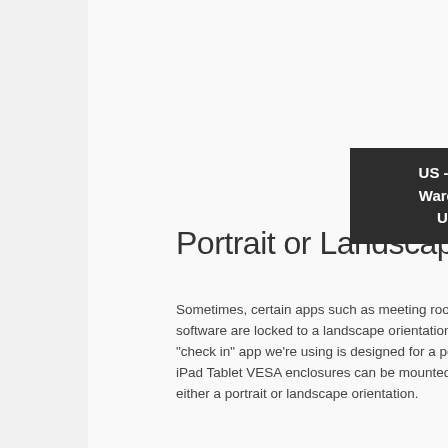[Figure (screenshot): Dark tooltip/dropdown overlay showing 'US - Global Warehouse USD $' with a home icon]
Portrait or Landscape
Sometimes, certain apps such as meeting room software are locked to a landscape orientation. Maybe the "check in" app we're using is designed for a portrait. iPad Tablet VESA enclosures can be mounted to install either a portrait or landscape orientation.